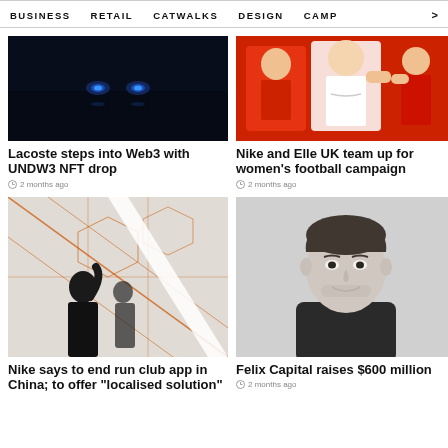BUSINESS  RETAIL  CATWALKS  DESIGN  CAMP  >
[Figure (photo): Dark background with two blue glowing eye-like lights, Lacoste article image]
Lacoste steps into Web3 with UNDW3 NFT drop
2 months ago
[Figure (photo): Group of people in red and white clothing, Nike and Elle UK article image]
Nike and Elle UK team up for women's football campaign
2 months ago
[Figure (photo): Person silhouetted in front of geometric pattern wall with orange lines, Nike China article image]
Nike says to end run club app in China; to offer "localised solution"
[Figure (photo): Black and white portrait photo of a young man smiling, Felix Capital article image]
Felix Capital raises $600 million
2 months ago